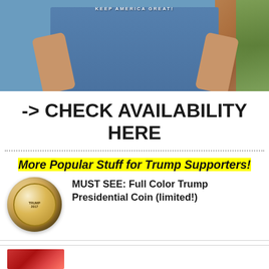[Figure (photo): Person wearing a blue 'Keep America Great' t-shirt standing in front of a brick wall with green foliage visible on the right.]
-> CHECK AVAILABILITY HERE
More Popular Stuff for Trump Supporters!
[Figure (photo): Hand holding a Full Color Trump Presidential Coin commemorative coin.]
MUST SEE: Full Color Trump Presidential Coin (limited!)
[Figure (photo): Partially visible image at bottom of page.]